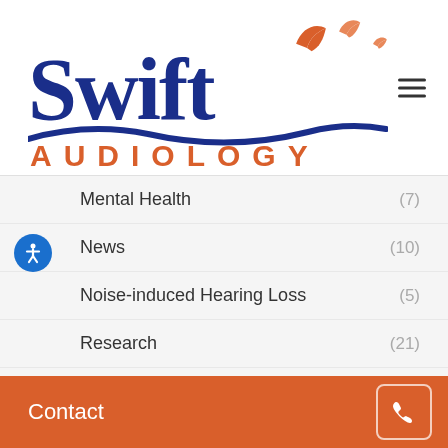[Figure (logo): Swift Audiology logo with blue 'Swift' text, orange 'AUDIOLOGY' text, blue wave underline, and three orange swift bird silhouettes]
Mental Health (7)
News (10)
Noise-induced Hearing Loss (5)
Research (21)
Science (8)
Signs & Symptoms (2)
Contact